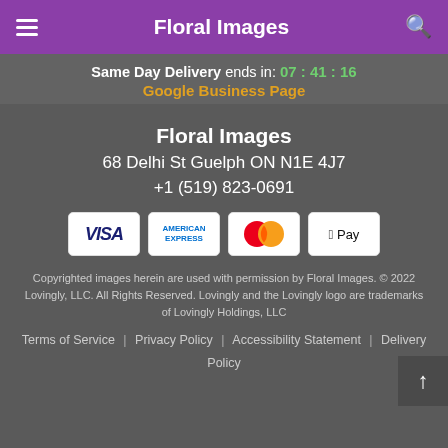Floral Images
Same Day Delivery ends in: 07 : 41 : 16
Google Business Page
Floral Images
68 Delhi St Guelph ON N1E 4J7
+1 (519) 823-0691
[Figure (other): Payment method icons: VISA, American Express, Mastercard, Apple Pay]
Copyrighted images herein are used with permission by Floral Images. © 2022 Lovingly, LLC. All Rights Reserved. Lovingly and the Lovingly logo are trademarks of Lovingly Holdings, LLC
Terms of Service | Privacy Policy | Accessibility Statement | Delivery Policy